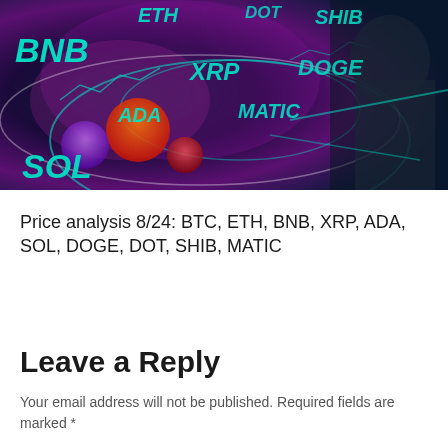[Figure (illustration): Stylized crypto trading illustration showing a robotic/armored figure piloting, with glowing teal cryptocurrency ticker labels (BNB, ETH, DOT, SHIB, XRP, DOGE, ADA, MATIC, SOL) overlaid on a colorful cosmic background with teal arcs and circular orbs.]
Price analysis 8/24: BTC, ETH, BNB, XRP, ADA, SOL, DOGE, DOT, SHIB, MATIC
Leave a Reply
Your email address will not be published. Required fields are marked *